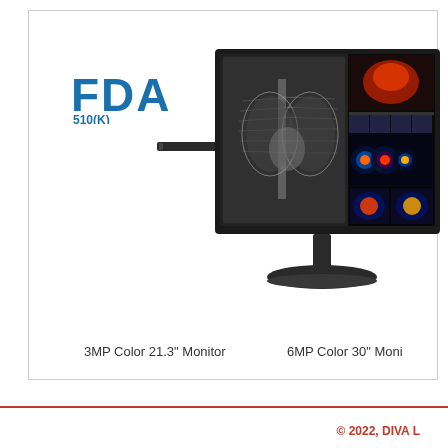[Figure (logo): FDA 510(K) logo in blue]
[Figure (photo): Thin horizontal device bar (3MP Color 21.3 inch Monitor) shown as dark flat bar]
[Figure (photo): 6MP Color 30 inch diagnostic medical monitor displaying chest X-ray and color medical images]
3MP Color 21.3" Monitor
6MP Color 30" Moni...
© 2022, DIVA L...